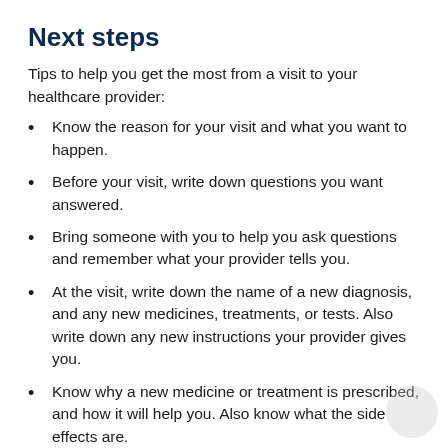Next steps
Tips to help you get the most from a visit to your healthcare provider:
Know the reason for your visit and what you want to happen.
Before your visit, write down questions you want answered.
Bring someone with you to help you ask questions and remember what your provider tells you.
At the visit, write down the name of a new diagnosis, and any new medicines, treatments, or tests. Also write down any new instructions your provider gives you.
Know why a new medicine or treatment is prescribed, and how it will help you. Also know what the side effects are.